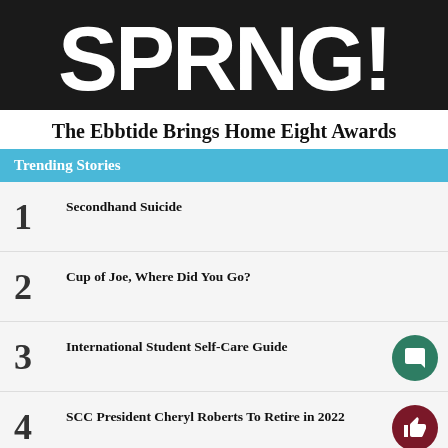[Figure (logo): Partial newspaper logo/masthead with large white bold text on black background, showing letters 'PRING' or similar partial text]
The Ebbtide Brings Home Eight Awards
Trending Stories
1  Secondhand Suicide
2  Cup of Joe, Where Did You Go?
3  International Student Self-Care Guide
4  SCC President Cheryl Roberts To Retire in 2022